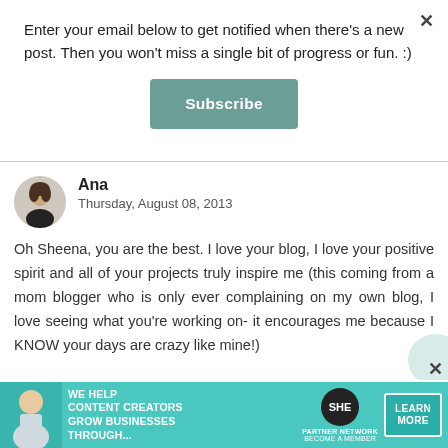Enter your email below to get notified when there's a new post. Then you won't miss a single bit of progress or fun. :)
Subscribe
[Figure (photo): Circular avatar photo of a woman named Ana with dark hair]
Ana
Thursday, August 08, 2013
Oh Sheena, you are the best. I love your blog, I love your positive spirit and all of your projects truly inspire me (this coming from a mom blogger who is only ever complaining on my own blog, I love seeing what you're working on- it encourages me because I KNOW your days are crazy like mine!)
Keep the DIYs coming and never stop blogging
[Figure (screenshot): SHE Partner Network advertisement banner: 'We help content creators grow businesses through...' with Learn More button]